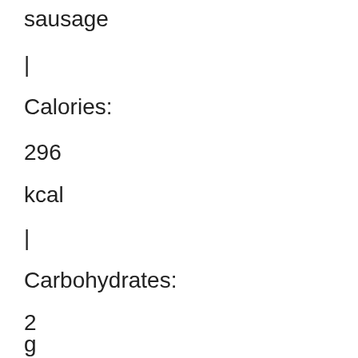sausage
|
Calories:
296
kcal
|
Carbohydrates:
2
g